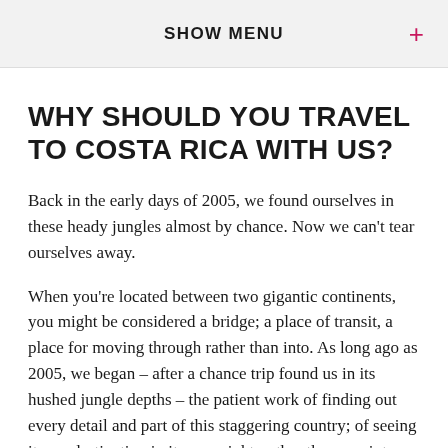SHOW MENU
WHY SHOULD YOU TRAVEL TO COSTA RICA WITH US?
Back in the early days of 2005, we found ourselves in these heady jungles almost by chance. Now we can't tear ourselves away.
When you're located between two gigantic continents, you might be considered a bridge; a place of transit, a place for moving through rather than into. As long ago as 2005, we began – after a chance trip found us in its hushed jungle depths – the patient work of finding out every detail and part of this staggering country; of seeing it as a destination in its own right, rather than a point